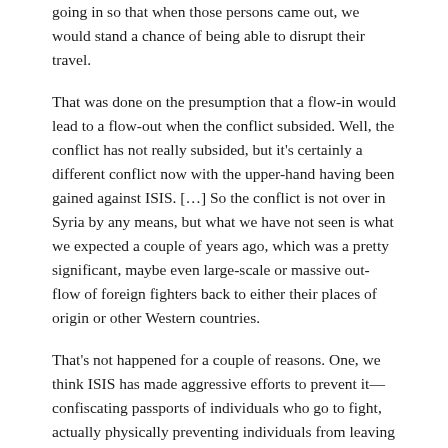going in so that when those persons came out, we would stand a chance of being able to disrupt their travel.
That was done on the presumption that a flow-in would lead to a flow-out when the conflict subsided. Well, the conflict has not really subsided, but it's certainly a different conflict now with the upper-hand having been gained against ISIS. […] So the conflict is not over in Syria by any means, but what we have not seen is what we expected a couple of years ago, which was a pretty significant, maybe even large-scale or massive out-flow of foreign fighters back to either their places of origin or other Western countries.
That's not happened for a couple of reasons. One, we think ISIS has made aggressive efforts to prevent it—confiscating passports of individuals who go to fight, actually physically preventing individuals from leaving the conflict zone. Then there's also I think the ideological pull for many of these individuals [that] has led them to a place where they're willing to fight and die on behalf of the